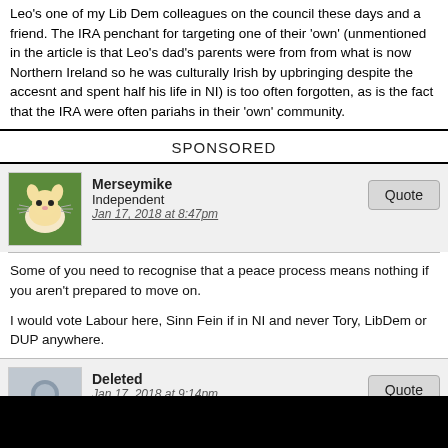Leo's one of my Lib Dem colleagues on the council these days and a friend. The IRA penchant for targeting one of their 'own' (unmentioned in the article is that Leo's dad's parents were from from what is now Northern Ireland so he was culturally Irish by upbringing despite the accesnt and spent half his life in NI) is too often forgotten, as is the fact that the IRA were often pariahs in their 'own' community.
SPONSORED
Merseymike
Independent
Jan 17, 2018 at 8:47pm
Some of you need to recognise that a peace process means nothing if you aren't prepared to move on.

I would vote Labour here, Sinn Fein if in NI and never Tory, LibDem or DUP anywhere.
Deleted
Jan 17, 2018 at 9:14pm
redactedcock likes this
Merseymike said: